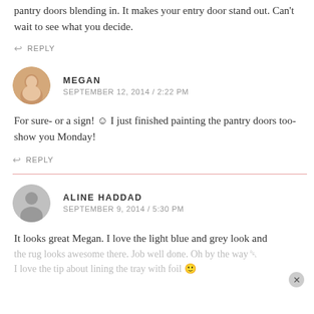pantry doors blending in. It makes your entry door stand out. Can't wait to see what you decide.
↩ REPLY
MEGAN
SEPTEMBER 12, 2014 / 2:22 PM
For sure- or a sign! ☺ I just finished painting the pantry doors too- show you Monday!
↩ REPLY
ALINE HADDAD
SEPTEMBER 9, 2014 / 5:30 PM
It looks great Megan. I love the light blue and grey look and the rug looks awesome there. Job well done. Oh by the way I love the tip about lining the tray with foil 🙂